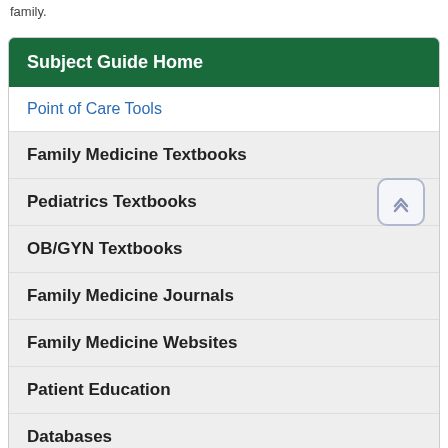family.
Subject Guide Home
Point of Care Tools
Family Medicine Textbooks
Pediatrics Textbooks
OB/GYN Textbooks
Family Medicine Journals
Family Medicine Websites
Patient Education
Databases
Contact